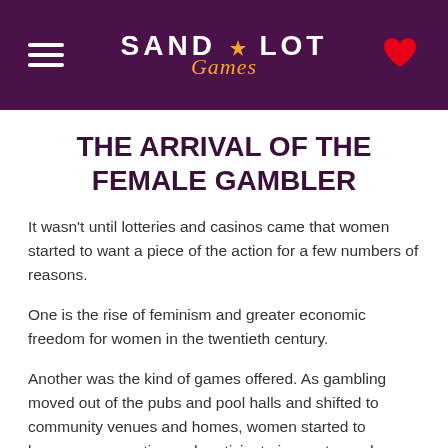SANDLOT Games
THE ARRIVAL OF THE FEMALE GAMBLER
It wasn't until lotteries and casinos came that women started to want a piece of the action for a few numbers of reasons.
One is the rise of feminism and greater economic freedom for women in the twentieth century.
Another was the kind of games offered. As gambling moved out of the pubs and pool halls and shifted to community venues and homes, women started to become more active and participate in greater and